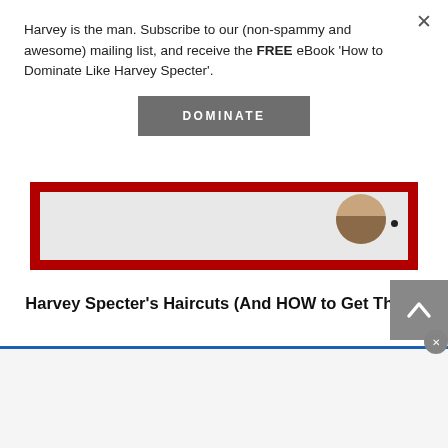Harvey is the man. Subscribe to our (non-spammy and awesome) mailing list, and receive the FREE eBook 'How to Dominate Like Harvey Specter'.
DOMINATE
[Figure (photo): Article card with red-bordered image showing a partial face/profile photo in top-right corner]
Harvey Specter's Haircuts (And HOW to Get Them)
25 April 2020